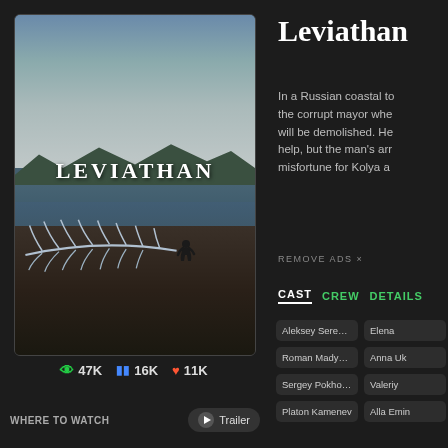[Figure (photo): Movie poster for Leviathan showing a person sitting on rocks near a whale skeleton on a Russian coastal beach, with hills and sea in background. The word LEVIATHAN is displayed prominently.]
47K  16K  11K
WHERE TO WATCH  Trailer
Leviathan
In a Russian coastal to... the corrupt mayor whe... will be demolished. He... help, but the man's arr... misfortune for Kolya a...
REMOVE ADS ×
CAST  CREW  DETAILS
Aleksey Serebryakov  Elena  Roman Madyanov  Anna Uk  Sergey Pokhodaev  Valeriy  Platon Kamenev  Alla Emin